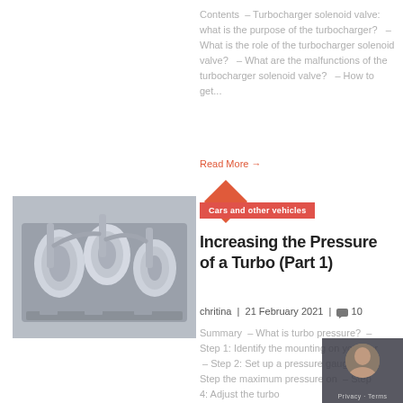Contents – Turbocharger solenoid valve: what is the purpose of the turbocharger? – What is the role of the turbocharger solenoid valve? – What are the malfunctions of the turbocharger solenoid valve? – How to get...
Read More →
Cars and other vehicles
[Figure (photo): Engine compartment showing turbocharger components, metallic pipes and machinery in gray tones]
Increasing the Pressure of a Turbo (Part 1)
chritina | 21 February 2021 | 💬 10
Summary – What is turbo pressure? – Step 1: Identify the mounting on your car – Step 2: Set up a pressure gauge – Step [3: Find] the maximum pressure on [your car] – Step 4: Adjust the turbo